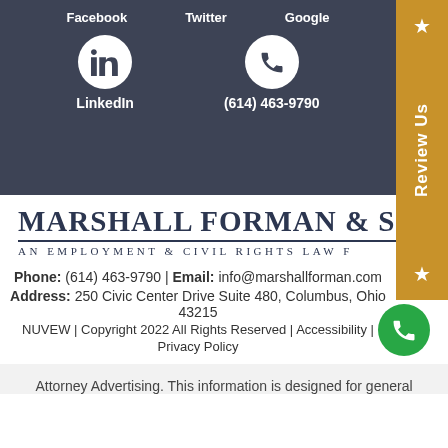Facebook
Twitter
Google
LinkedIn
(614) 463-9790
MARSHALL FORMAN & SCHLE
AN EMPLOYMENT & CIVIL RIGHTS LAW F
Phone: (614) 463-9790 | Email: info@marshallforman.com
Address: 250 Civic Center Drive Suite 480, Columbus, Ohio 43215
NUVEW | Copyright 2022 All Rights Reserved | Accessibility |
Privacy Policy
Attorney Advertising. This information is designed for general